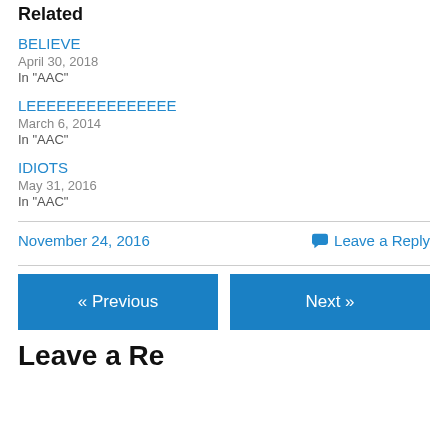Related
BELIEVE
April 30, 2018
In "AAC"
LEEEEEEEEEEEEEEE
March 6, 2014
In "AAC"
IDIOTS
May 31, 2016
In "AAC"
November 24, 2016     💬 Leave a Reply
« Previous    Next »
Leave a Reply